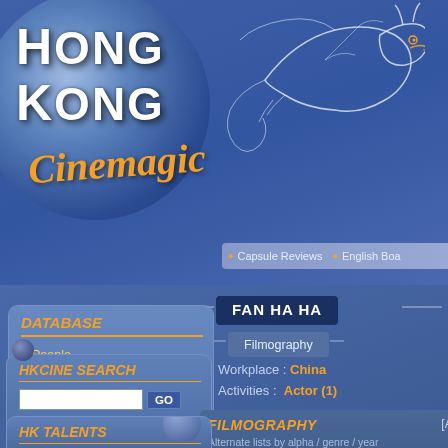[Figure (screenshot): Hong Kong Cinemagic website logo with dragon illustration — 'HONG KONG' in bold white text with 'Cinemagic' in orange italic script, blue circular background, dragon graphic top right]
Capsule Reviews   English Boa
DATABASE
People
Movies
Movie Studios
Glossary
Your Settings
FAN HA HA
Filmography
Workplace :  China
Activities :   Actor (1)
HKCINE SEARCH
GO
People
>> Help
FILMOGRAPHY
[A]
Alternate lists by alpha / genre / year
Title   ( HK -  All )         Year Activity
Apprentice San Mao           1958 Actor
Article   Review   Poster/Gallery   DVD Captures
HK TALENTS